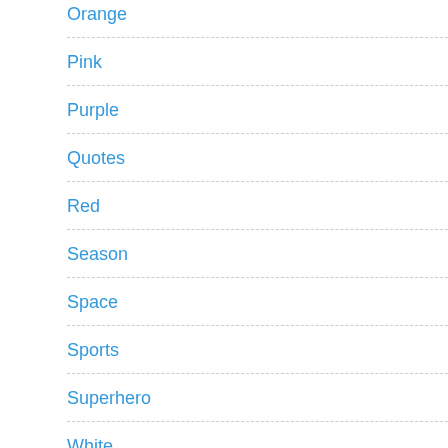Orange
Pink
Purple
Quotes
Red
Season
Space
Sports
Superhero
White